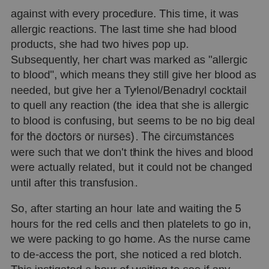against with every procedure.  This time, it was allergic reactions.  The last time she had blood products, she had two hives pop up.  Subsequently, her chart was marked as "allergic to blood", which means they still give her blood as needed, but give her a Tylenol/Benadryl cocktail to quell any reaction (the idea that she is allergic to blood is confusing, but seems to be no big deal for the doctors or nurses). The circumstances were such that we don't think the hives and blood were actually related, but it could not be changed until after this transfusion.
So, after starting an hour late and waiting the 5 hours for the red cells and then platelets to go in, we were packing to go home.  As the nurse came to de-access the port, she noticed a red blotch.  This instigated a hour of waiting to see if any more redness appeared, or if any breathing problems cropped up.  Nothing came of it, so she was cleared to go, though I don't think they will clear her chart yet.  We finally got to leave around 8:15pm, 7 hours after we arrived.  She is pinked up and seems to be handling it well; we go back tomorrow for more labs to see if the transfusion has resolved the low numbers.  We're crossing our fingers that, in addition